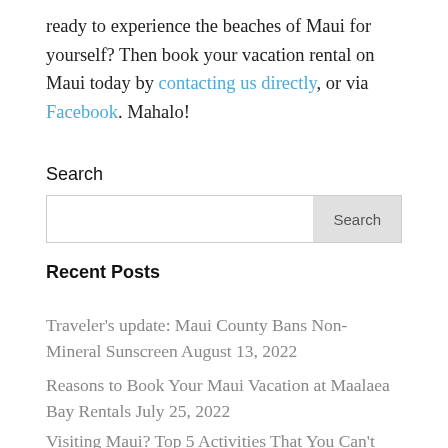ready to experience the beaches of Maui for yourself? Then book your vacation rental on Maui today by contacting us directly, or via Facebook. Mahalo!
Search
Recent Posts
Traveler's update: Maui County Bans Non-Mineral Sunscreen August 13, 2022
Reasons to Book Your Maui Vacation at Maalaea Bay Rentals July 25, 2022
Visiting Maui? Top 5 Activities That You Can't